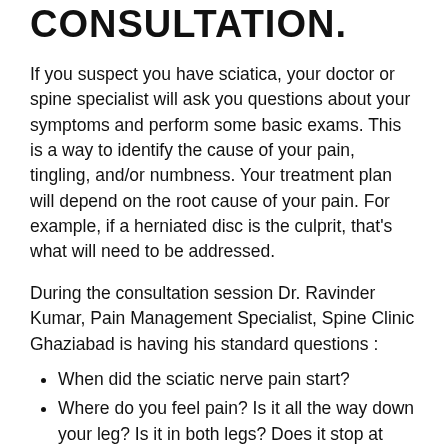CONSULTATION.
If you suspect you have sciatica, your doctor or spine specialist will ask you questions about your symptoms and perform some basic exams. This is a way to identify the cause of your pain, tingling, and/or numbness. Your treatment plan will depend on the root cause of your pain. For example, if a herniated disc is the culprit, that's what will need to be addressed.
During the consultation session Dr. Ravinder Kumar, Pain Management Specialist, Spine Clinic Ghaziabad is having his standard questions :
When did the sciatic nerve pain start?
Where do you feel pain? Is it all the way down your leg? Is it in both legs? Does it stop at your knee?
On a scale from 1 to 10, with 10 being the worst pain imaginable, rate your pain.